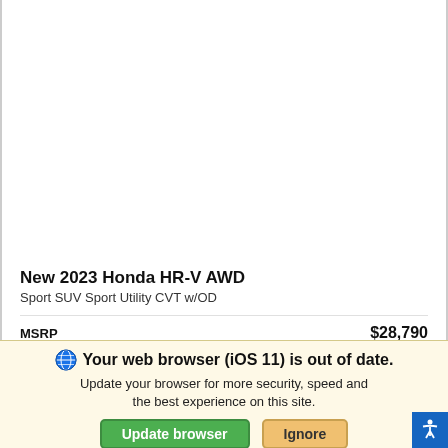New 2023 Honda HR-V AWD
Sport SUV Sport Utility CVT w/OD
MSRP   $28,790
Your web browser (iOS 11) is out of date.
Update your browser for more security, speed and the best experience on this site.